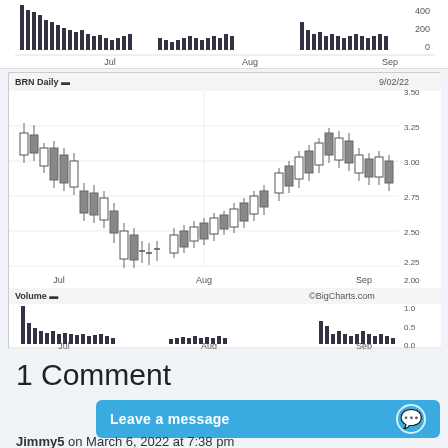[Figure (other): Stock chart screenshot from BigCharts.com showing BRN Daily candlestick price chart (9/02/22) with price range roughly 2.00-3.50, and a volume bar chart below showing volume in Millions, with x-axis labels Jul, Aug, Sep. Above is a partial volume chart in Thousands.]
1 Comment
Leave a message
Jimmy5 on March 6, 2022 at 7:38 pm